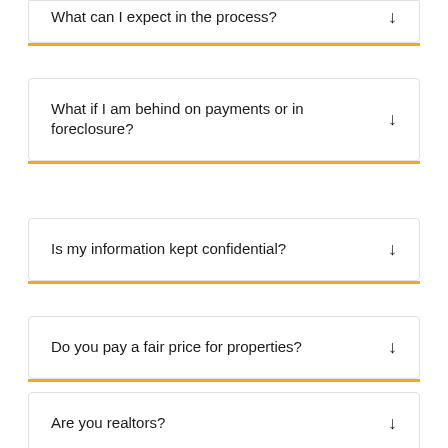What can I expect in the process?
What if I am behind on payments or in foreclosure?
Is my information kept confidential?
Do you pay a fair price for properties?
Are you realtors?